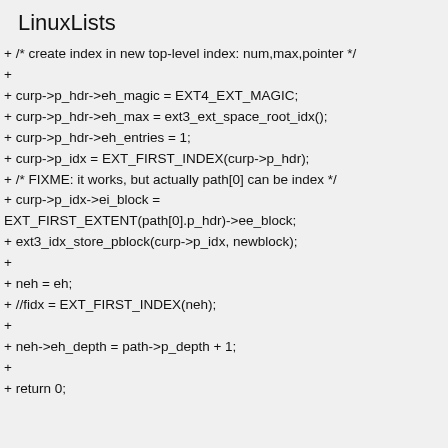LinuxLists
+ /* create index in new top-level index: num,max,pointer */
+
+ curp->p_hdr->eh_magic = EXT4_EXT_MAGIC;
+ curp->p_hdr->eh_max = ext3_ext_space_root_idx();
+ curp->p_hdr->eh_entries = 1;
+ curp->p_idx = EXT_FIRST_INDEX(curp->p_hdr);
+ /* FIXME: it works, but actually path[0] can be index */
+ curp->p_idx->ei_block =
EXT_FIRST_EXTENT(path[0].p_hdr)->ee_block;
+ ext3_idx_store_pblock(curp->p_idx, newblock);
+
+ neh = eh;
+ //fidx = EXT_FIRST_INDEX(neh);
+
+ neh->eh_depth = path->p_depth + 1;
+
+ return 0;